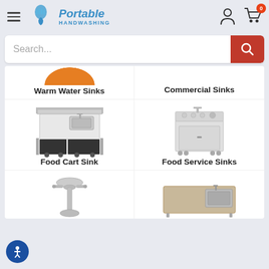[Figure (screenshot): Portable Handwashing website screenshot showing navigation header with hamburger menu and logo, search bar, and product category grid including Warm Water Sinks, Commercial Sinks, Food Cart Sink, Food Service Sinks, and two partially visible categories at the bottom.]
Search...
Warm Water Sinks
Commercial Sinks
Food Cart Sink
Food Service Sinks